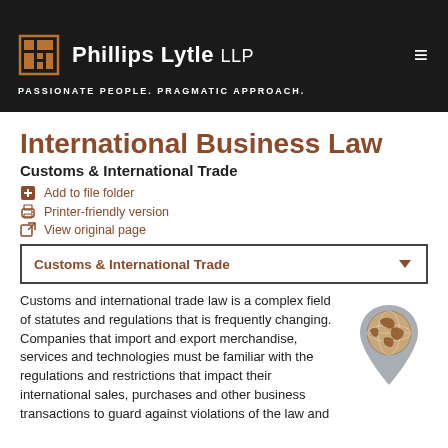Phillips Lytle LLP — PASSIONATE PEOPLE. PRAGMATIC APPROACH.
International Business Law
Customs & International Trade
Add to file folder
Printer-friendly version
View original page
Customs & International Trade
Customs and international trade law is a complex field of statutes and regulations that is frequently changing. Companies that import and export merchandise, services and technologies must be familiar with the regulations and restrictions that impact their international sales, purchases and other business transactions to guard against violations of the law and
[Figure (illustration): Globe location pin icon — a grey map pin with a brown/copper globe inside it]